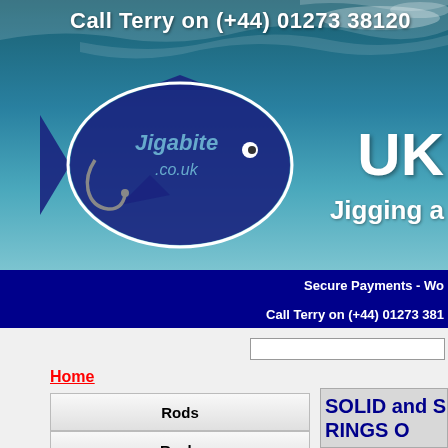[Figure (screenshot): Jigabite.co.uk website header banner with ocean/water background, fish logo with hook, and text overlays]
Call Terry on (+44) 01273 38120
UK
Jigging a
Secure Payments - Wo
Call Terry on (+44) 01273 381
Home
Rods
Reels
Jigs
Poppers
SOLID and S
RINGS O